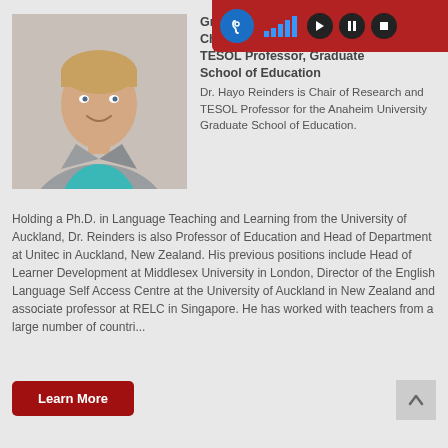[Figure (photo): Headshot of Dr. Hayo Reinders, a middle-aged man in a grey blazer and teal shirt, smiling]
Graduate...
Chair of Research
TESOL Professor, Graduate School of Education
Dr. Hayo Reinders is Chair of Research and TESOL Professor for the Anaheim University Graduate School of Education. Holding a Ph.D. in Language Teaching and Learning from the University of Auckland, Dr. Reinders is also Professor of Education and Head of Department at Unitec in Auckland, New Zealand. His previous positions include Head of Learner Development at Middlesex University in London, Director of the English Language Self Access Centre at the University of Auckland in New Zealand and associate professor at RELC in Singapore. He has worked with teachers from a large number of countri...
Learn More